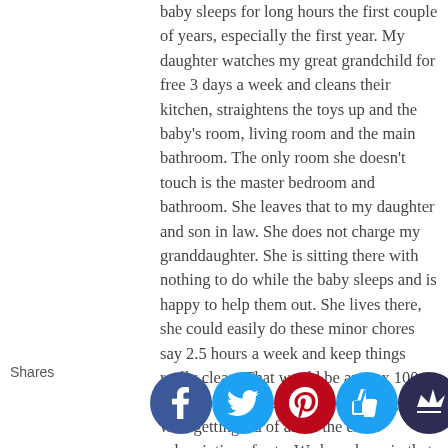baby sleeps for long hours the first couple of years, especially the first year. My daughter watches my great grandchild for free 3 days a week and cleans their kitchen, straightens the toys up and the baby's room, living room and the main bathroom. The only room she doesn't touch is the master bedroom and bathroom. She leaves that to my daughter and son in law. She does not charge my granddaughter. She is sitting there with nothing to do while the baby sleeps and is happy to help them out. She lives there, she could easily do these minor chores say 2.5 hours a week and keep things really clean. That would be approx 100 a month saving you 460 a month. I agree with getting rid of all of the extra subscriptions for tv. We have been in that situation and you just cannot watch all that you pay for. One like Netflix would be plenty to watch. I also have a kindle and I simply take the free offerings from book bub. I don't read classroom stuff just fun stuff like western and Victorian romances and amateur sleuth books. We have never done the Amazon subscription. We find that we c... always spen... at get... ship. A... little le... to... our item... ered bu... not pa... monthi...
Shares